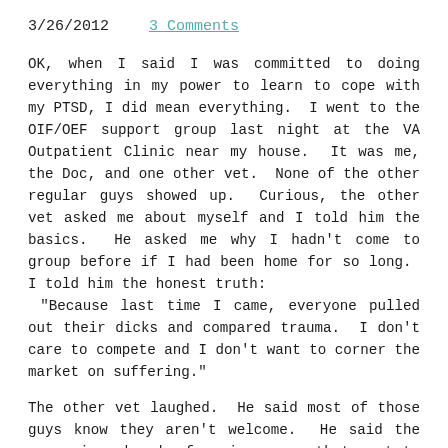3/26/2012    3 Comments
OK, when I said I was committed to doing everything in my power to learn to cope with my PTSD, I did mean everything.  I went to the OIF/OEF support group last night at the VA Outpatient Clinic near my house.  It was me, the Doc, and one other vet.  None of the other regular guys showed up.  Curious, the other vet asked me about myself and I told him the basics.  He asked me why I hadn't come to group before if I had been home for so long.  I told him the honest truth: "Because last time I came, everyone pulled out their dicks and compared trauma.  I don't care to compete and I don't want to corner the market on suffering."
The other vet laughed.  He said most of those guys know they aren't welcome.  He said the group is a bunch of serious guys that want to make lives for